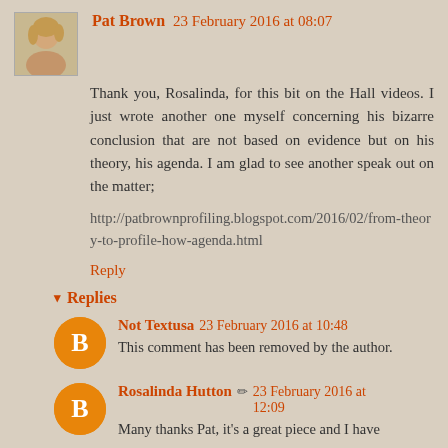Pat Brown 23 February 2016 at 08:07
Thank you, Rosalinda, for this bit on the Hall videos. I just wrote another one myself concerning his bizarre conclusion that are not based on evidence but on his theory, his agenda. I am glad to see another speak out on the matter;
http://patbrownprofiling.blogspot.com/2016/02/from-theory-to-profile-how-agenda.html
Reply
Replies
Not Textusa 23 February 2016 at 10:48
This comment has been removed by the author.
Rosalinda Hutton 23 February 2016 at 12:09
Many thanks Pat, it's a great piece and I have